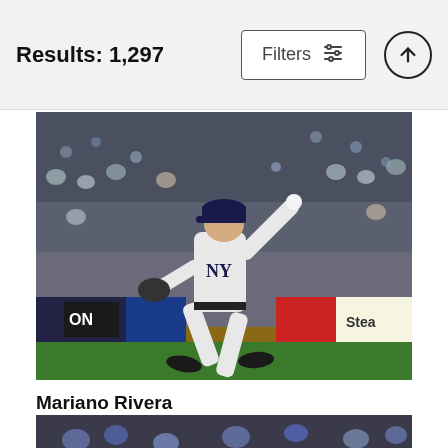Results: 1,297
[Figure (screenshot): Filters button with sliders icon and an up-arrow circle button in the header bar]
[Figure (photo): Mariano Rivera in New York Yankees pinstripe uniform delivering a pitch from the mound, with a crowded stadium in the background]
Mariano Rivera
Al Bello
$9.62
[Figure (photo): Partial view of another baseball photo at the bottom of the page, showing crowd in the background]